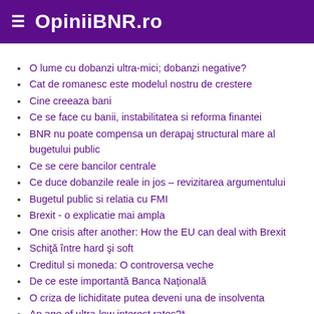OpiniiBNR.ro
O lume cu dobanzi ultra-mici; dobanzi negative?
Cat de romanesc este modelul nostru de crestere
Cine creeaza bani
Ce se face cu banii, instabilitatea si reforma finantei
BNR nu poate compensa un derapaj structural mare al bugetului public
Ce se cere bancilor centrale
Ce duce dobanzile reale in jos – revizitarea argumentului
Bugetul public si relatia cu FMI
Brexit - o explicatie mai ampla
One crisis after another: How the EU can deal with Brexit
Schiță între hard și soft
Creditul si moneda: O controversa veche
De ce este importantă Banca Națională
O criza de lichiditate putea deveni una de insolventa
An age of ultra-low interest rates?*
Aderarea la zona euro nu se poate realiza oricum
Chiar dispare inflatia?